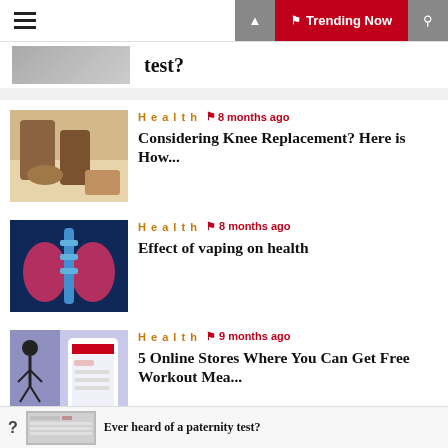Trending Now
test?
[Figure (photo): Person sitting, knee area visible, gym setting]
Health  8 months ago
Considering Knee Replacement? Here is How...
[Figure (photo): X-ray or digital illustration of human lungs and spine in blue and pink]
Health  8 months ago
Effect of vaping on health
[Figure (photo): Woman running and fitness app on phone]
Health  9 months ago
5 Online Stores Where You Can Get Free Workout Mea...
Ever heard of a paternity test?